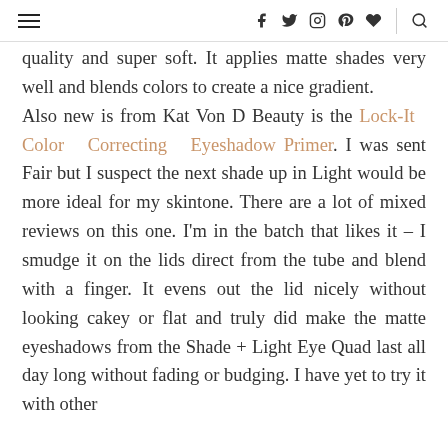≡  f  🐦  📷   Pinterest  ♥  |  🔍
quality and super soft. It applies matte shades very well and blends colors to create a nice gradient. Also new is from Kat Von D Beauty is the Lock-It Color Correcting Eyeshadow Primer. I was sent Fair but I suspect the next shade up in Light would be more ideal for my skintone. There are a lot of mixed reviews on this one. I'm in the batch that likes it – I smudge it on the lids direct from the tube and blend with a finger. It evens out the lid nicely without looking cakey or flat and truly did make the matte eyeshadows from the Shade + Light Eye Quad last all day long without fading or budging. I have yet to try it with other